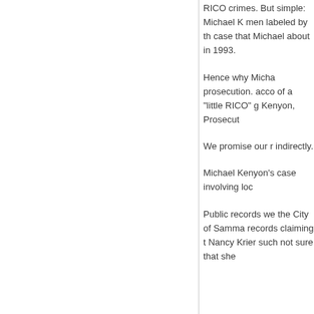RICO crimes. But simple: Michael K men labeled by th case that Michael about in 1993.
Hence why Micha prosecution. acco of a “little RICO” g Kenyon, Prosecut
We promise our r indirectly.
Michael Kenyon’s case involving loc
Public records we the City of Samma records claiming t Nancy Krier such not sure that she